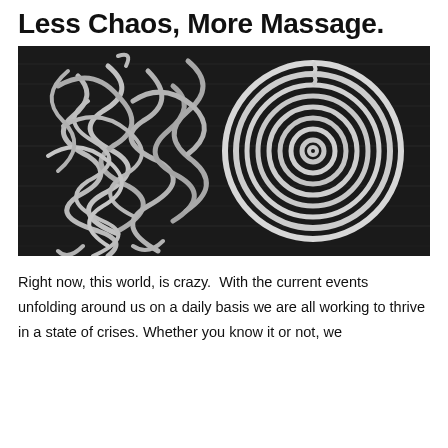Less Chaos, More Massage.
[Figure (photo): Black and white photo showing two rope arrangements on a dark wooden surface: a tangled, messy pile of rope on the left, and a neatly coiled spiral of rope on the right.]
Right now, this world, is crazy.  With the current events unfolding around us on a daily basis we are all working to thrive in a state of crises. Whether you know it or not, we